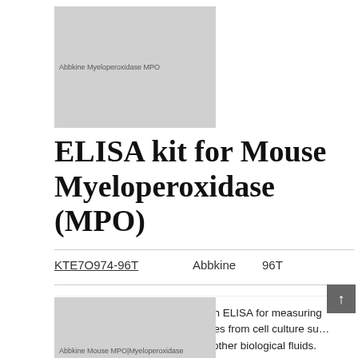[Figure (photo): Product image placeholder for Abbkine Myeloperoxidase MPO ELISA kit, grey rectangle with label text]
ELISA kit for Mouse Myeloperoxidase (MPO)
KTE7O974-96T    Abbkine    96T
Description: Quantitative sandwich ELISA for measuring Myeloperoxidase (MPO) in samples from cell culture supernatant, serum, whole blood, plasma and other biological fluids.
[Figure (photo): Second product image placeholder for Abbkine Mouse MPO Myeloperoxidase kit, grey rectangle with label text]